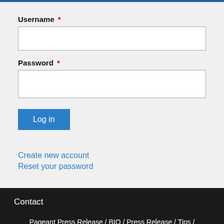Username *
Password *
Log in
Create new account
Reset your password
Contact
Pageant Press Release / BIO / Press Release / Tips / Contact EMAll :